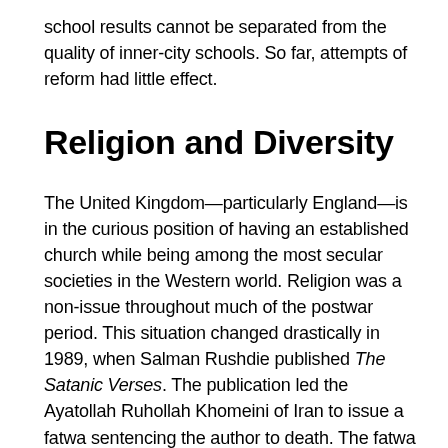school results cannot be separated from the quality of inner-city schools. So far, attempts of reform had little effect.
Religion and Diversity
The United Kingdom—particularly England—is in the curious position of having an established church while being among the most secular societies in the Western world. Religion was a non-issue throughout much of the postwar period. This situation changed drastically in 1989, when Salman Rushdie published The Satanic Verses. The publication led the Ayatollah Ruhollah Khomeini of Iran to issue a fatwa sentencing the author to death. The fatwa made international headlines, but of greater local interest was the reaction of British Muslims: large demonstrations